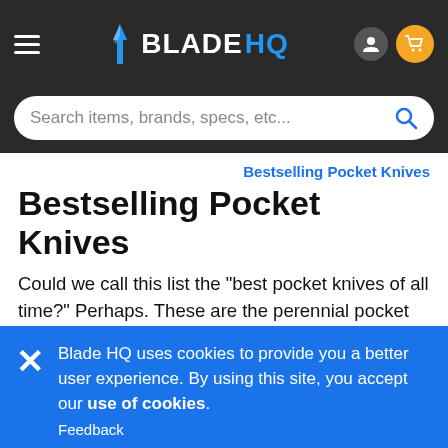BLADE HQ
Search items, brands, specs, etc...
Bestselling Pocket Knives
Bestselling Pocket Knives
Could we call this list the "best pocket knives of all time?" Perhaps. These are the perennial pocket knife winners that people continue to add to their collections, year after year. These are the tried and true best EDC knives around. Shop all pocket knives or check out our Best Pocket Knife Brands
Blade HQ uses cookies to provide you a better user experience. By using this site, you accept our use of cookies.
Feedback